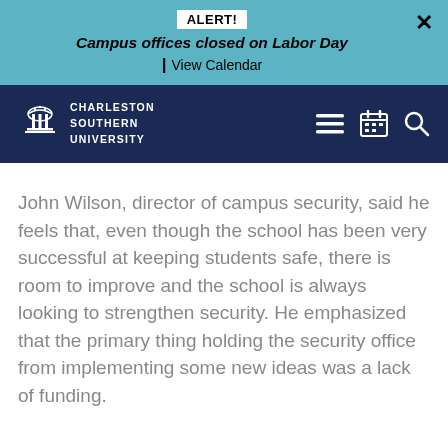ALERT! Campus offices closed on Labor Day | View Calendar
[Figure (logo): Charleston Southern University logo and navigation bar with hamburger menu, calendar icon, and search icon]
John Wilson, director of campus security, said he feels that, even though the school has been very successful at keeping students safe, there is room to improve and the school is always looking to strengthen security. He emphasized that the primary thing holding the security office from implementing some new ideas was a lack of funding.